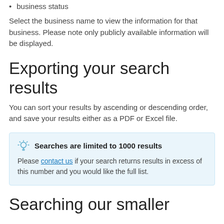business status
Select the business name to view the information for that business. Please note only publicly available information will be displayed.
Exporting your search results
You can sort your results by ascending or descending order, and save your results either as a PDF or Excel file.
Searches are limited to 1000 results
Please contact us if your search returns results in excess of this number and you would like the full list.
Searching our smaller